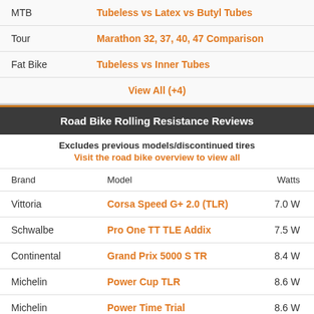| Category | Link |
| --- | --- |
| MTB | Tubeless vs Latex vs Butyl Tubes |
| Tour | Marathon 32, 37, 40, 47 Comparison |
| Fat Bike | Tubeless vs Inner Tubes |
|  | View All (+4) |
Road Bike Rolling Resistance Reviews
Excludes previous models/discontinued tires
Visit the road bike overview to view all
| Brand | Model | Watts |
| --- | --- | --- |
| Vittoria | Corsa Speed G+ 2.0 (TLR) | 7.0 W |
| Schwalbe | Pro One TT TLE Addix | 7.5 W |
| Continental | Grand Prix 5000 S TR | 8.4 W |
| Michelin | Power Cup TLR | 8.6 W |
| Michelin | Power Time Trial | 8.6 W |